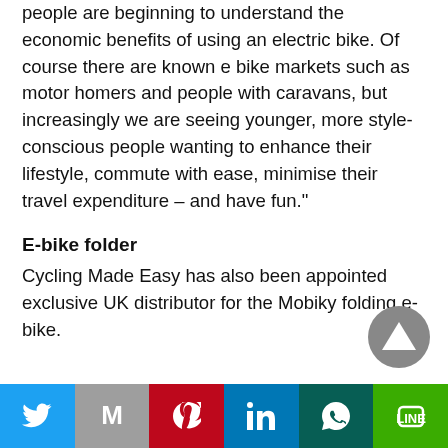people are beginning to understand the economic benefits of using an electric bike. Of course there are known e bike markets such as motor homers and people with caravans, but increasingly we are seeing younger, more style-conscious people wanting to enhance their lifestyle, commute with ease, minimise their travel expenditure – and have fun."
E-bike folder
Cycling Made Easy has also been appointed exclusive UK distributor for the Mobiky folding e-bike.
[Figure (other): Scroll-to-top button: dark grey circle with white upward-pointing triangle/arrow]
[Figure (infographic): Social sharing footer bar with six colored buttons: Twitter (blue), Gmail (grey), Pinterest (red), LinkedIn (blue), WhatsApp (dark teal), Line (green)]